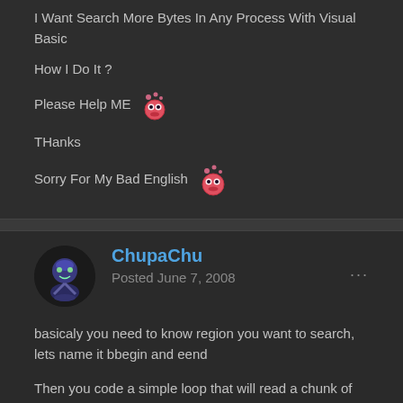I Want Search More Bytes In Any Process With Visual Basic
How I Do It ?
Please Help ME 😊
THanks
Sorry For My Bad English 😊
ChupaChu
Posted June 7, 2008
basicaly you need to know region you want to search, lets name it bbegin and eend
Then you code a simple loop that will read a chunk of data in a variable, then
just look for accourances of your first byte in your variable - if none then get next chunk (until eend reached)